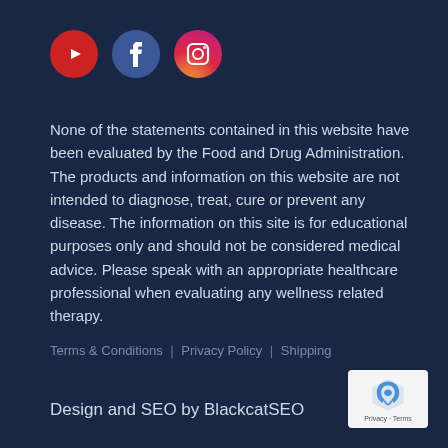[Figure (other): Social media icons: YouTube (red circle), Facebook (blue circle), Instagram (gradient circle)]
None of the statements contained in this website have been evaluated by the Food and Drug Administration. The products and information on this website are not intended to diagnose, treat, cure or prevent any disease. The information on this site is for educational purposes only and should not be considered medical advice. Please speak with an appropriate healthcare professional when evaluating any wellness related therapy.
Terms & Conditions | Privacy Policy | Shipping
Design and SEO by BlackcatSEO